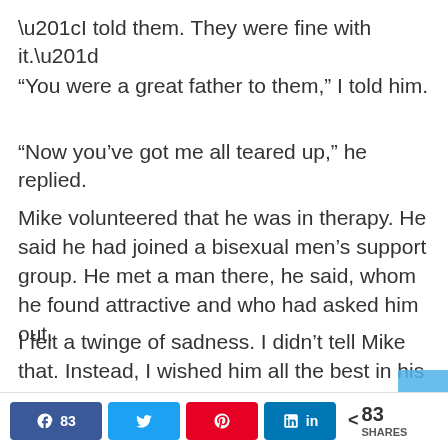“I told them. They were fine with it.”
“You were a great father to them,” I told him.
“Now you’ve got me all teared up,” he replied.
Mike volunteered that he was in therapy. He said he had joined a bisexual men’s support group. He met a man there, he said, whom he found attractive and who had asked him out.
I felt a twinge of sadness. I didn’t tell Mike that. Instead, I wished him all the best in his new life, and I meant it.
83 SHARES | Facebook 83 | Twitter | Pinterest | LinkedIn | < 83 SHARES